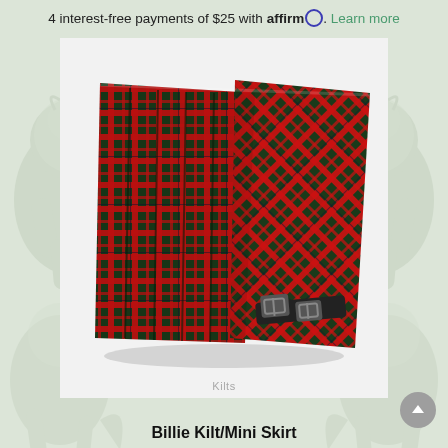4 interest-free payments of $25 with affirm. Learn more
[Figure (photo): A red and dark green tartan plaid kilt/mini skirt laid flat, showing pleats and two metal buckle closures on the right side. The garment is displayed on a light gray background. Behind it is a decorative watermark of heraldic lions on a light sage green background.]
Kilts
Billie Kilt/Mini Skirt